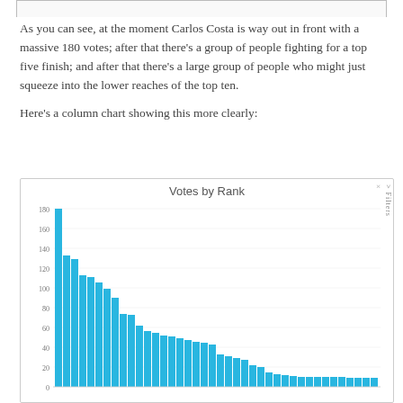As you can see, at the moment Carlos Costa is way out in front with a massive 180 votes; after that there's a group of people fighting for a top five finish; and after that there's a large group of people who might just squeeze into the lower reaches of the top ten.
Here's a column chart showing this more clearly:
[Figure (bar-chart): Votes by Rank]